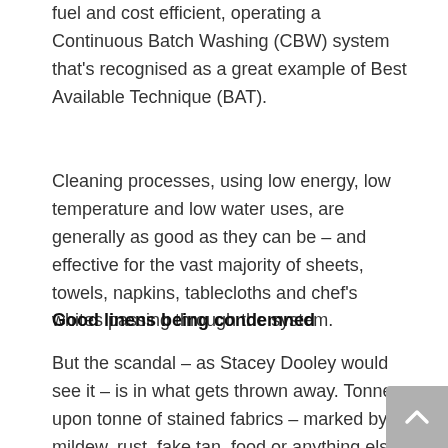fuel and cost efficient, operating a Continuous Batch Washing (CBW) system that's recognised as a great example of Best Available Technique (BAT).
Cleaning processes, using low energy, low temperature and low water uses, are generally as good as they can be – and effective for the vast majority of sheets, towels, napkins, tablecloths and chef's whites passing through the system.
Good linens being condemned
But the scandal – as Stacey Dooley would see it – is in what gets thrown away. Tonne upon tonne of stained fabrics – marked by mildew, rust, fake tan, food or anything else –  is being condemned to rag far too early in the item's economic journey.